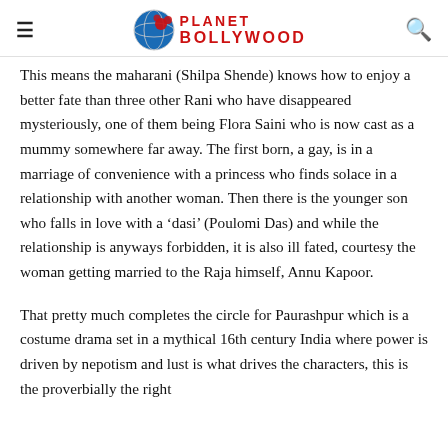Planet Bollywood
This means the maharani (Shilpa Shende) knows how to enjoy a better fate than three other Rani who have disappeared mysteriously, one of them being Flora Saini who is now cast as a mummy somewhere far away. The first born, a gay, is in a marriage of convenience with a princess who finds solace in a relationship with another woman. Then there is the younger son who falls in love with a ‘dasi’ (Poulomi Das) and while the relationship is anyways forbidden, it is also ill fated, courtesy the woman getting married to the Raja himself, Annu Kapoor.
That pretty much completes the circle for Paurashpur which is a costume drama set in a mythical 16th century India where power is driven by nepotism and lust is what drives the characters, this is the proverbially the right… it is